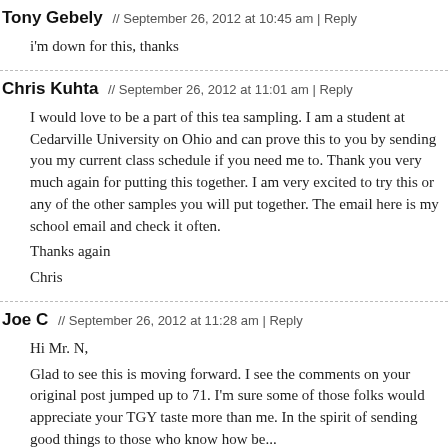Tony Gebely // September 26, 2012 at 10:45 am | Reply
i'm down for this, thanks
Chris Kuhta // September 26, 2012 at 11:01 am | Reply
I would love to be a part of this tea sampling. I am a student at Cedarville University on Ohio and can prove this to you by sending you my current class schedule if you need me to. Thank you very much again for putting this together. I am very excited to try this or any of the other samples you will put together. The email here is my school email and check it often.
Thanks again
Chris
Joe C // September 26, 2012 at 11:28 am | Reply
Hi Mr. N,
Glad to see this is moving forward. I see the comments on your original post jumped up to 71. I'm sure some of those folks would appreciate your TGY taste more than me. In the spirit of sending good things to those who know how be...